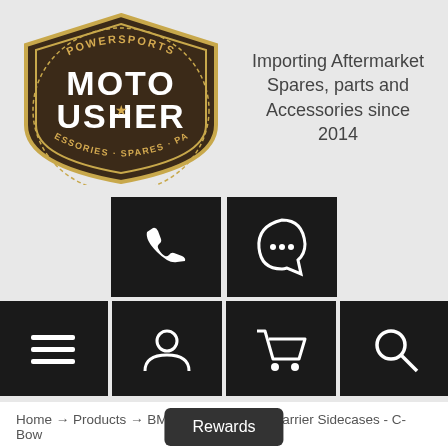[Figure (logo): Moto Usher Powersports logo — shield shape with dark brown background, text POWERSPORTS at top, MOTO USHER large in center, ACCESSORIES SPARES PARTS around bottom arc, star in center]
Importing Aftermarket Spares, parts and Accessories since 2014
[Figure (infographic): Two dark square icon buttons: phone/call icon and WhatsApp icon]
[Figure (infographic): Four dark square icon buttons: hamburger menu, user/account, shopping cart, search magnifier]
Home → Products → BMW Sport K1300R Carrier Sidecases - C-Bow
BMW SPORT K1300R CARRIER SIDECASES - C-BOW
BRAND: HERCO BE
Rewards